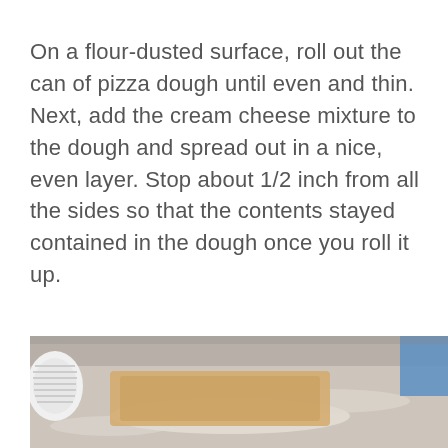On a flour-dusted surface, roll out the can of pizza dough until even and thin. Next, add the cream cheese mixture to the dough and spread out in a nice, even layer. Stop about 1/2 inch from all the sides so that the contents stayed contained in the dough once you roll it up.
[Figure (photo): A photo showing a flour-dusted surface with pizza dough being rolled out, with plates and other kitchen items visible in the background.]